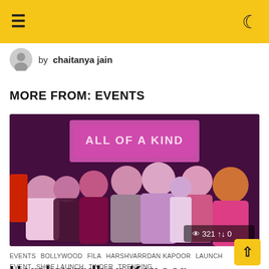≡ [hamburger menu] [moon/dark mode icon]
by chaitanya jain
MORE FROM: EVENTS
[Figure (photo): Group photo of several people posing together at an event. A pink-lit screen in the background reads 'ALL OF A KIND'. The photo has a pink/purple tint. Stats overlay shows 321 views and 0 shares.]
EVENTS   BOLLYWOOD   FILA   HARSHVARRDAN KAPOOR   LAUNCH EVENT   SHOE LAUNCH   TINDER   TRENDING
Harshvarrdhan Kapoor joins